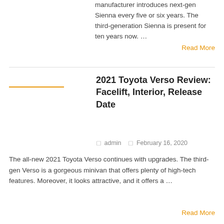manufacturer introduces next-gen Sienna every five or six years. The third-generation Sienna is present for ten years now. …
Read More
2021 Toyota Verso Review: Facelift, Interior, Release Date
admin   February 16, 2020
The all-new 2021 Toyota Verso continues with upgrades. The third-gen Verso is a gorgeous minivan that offers plenty of high-tech features. Moreover, it looks attractive, and it offers a …
Read More
2021 Toyota Sienna Hybrid Will Gain Impressive